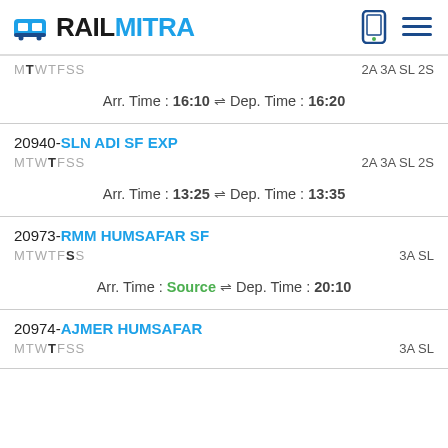RAILMITRA
MTWTFSS   2A 3A SL 2S
Arr. Time : 16:10 ⇌ Dep. Time : 16:20
20940-SLN ADI SF EXP
MTWTFSS   2A 3A SL 2S
Arr. Time : 13:25 ⇌ Dep. Time : 13:35
20973-RMM HUMSAFAR SF
MTWTFSS   3A SL
Arr. Time : Source ⇌ Dep. Time : 20:10
20974-AJMER HUMSAFAR
MTWTFSS   3A SL